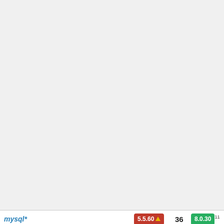| Package | Oldest | Count | Latest | All versions |
| --- | --- | --- | --- | --- |
| (continuation of previous row) | versions: 1.6.5.6366▲, 1.6.4.6052▲, 1.6.3.5818▲, 1.6.2.4902▲, 1.6.1.4235▲, 1.6.0.4014▲, 1.5.2.3456▲, 1.5.0.2827▲, 1.4.249*, 1.3.1249▲ |
| mysql* | 5.5.60▲ | 36 | 8.0.30 (11) | 8.0.29(6), 8.0.28(4), 8.0.27(2), 8.0.26(4), 8.0.25, 8.0.24, 8.0.22(2), 8.0.21, 8.0.19, 8.0.17(2), 5.7.39(4), 5.7.38(4), 5.7.37(3), 5.7.36(2), 5.7.35, 5.7.34, 5.7.33(2), 5.7.32(2), 5.7.31, 5.7.30, 5.7.29, 5.7.28, 5.7.27(2), 5.7.26(3), 5.7.25(2), 5.7.24(2) |